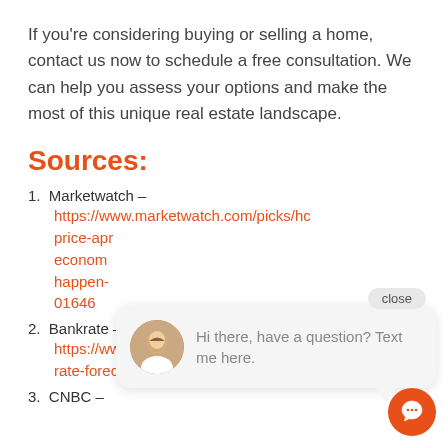If you're considering buying or selling a home, contact us now to schedule a free consultation. We can help you assess your options and make the most of this unique real estate landscape.
Sources:
1. Marketwatch – https://www.marketwatch.com/picks/ho price-apr...economy...happen...016469
2. Bankrate – https://www.bankrate.com/mortgages/m rate-forecast
3. CNBC –